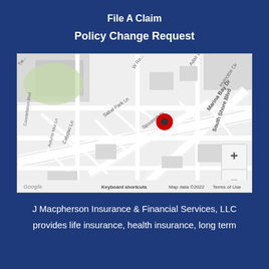File A Claim
Policy Change Request
[Figure (map): Google Maps street map showing location pin on Spoonbill Dr near South Shore Blvd, with streets including Sabal Park Ln, Calypso Ln, Marina Bay Dr, Constellation Blvd, Autumn Mist Ln, Invincible Cir, Adair Blvd. Map data ©2022.]
J Macpherson Insurance & Financial Services, LLC
provides life insurance, health insurance, long term